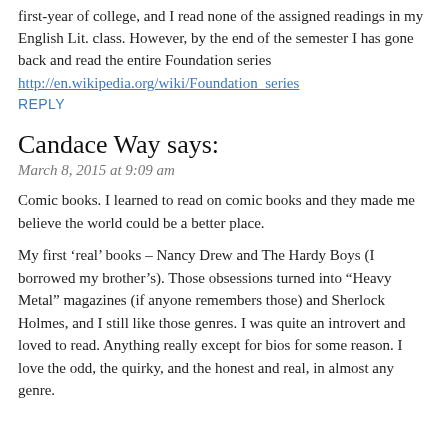first-year of college, and I read none of the assigned readings in my English Lit. class. However, by the end of the semester I has gone back and read the entire Foundation series
http://en.wikipedia.org/wiki/Foundation_series
REPLY
Candace Way says:
March 8, 2015 at 9:09 am
Comic books. I learned to read on comic books and they made me believe the world could be a better place.
My first ‘real’ books – Nancy Drew and The Hardy Boys (I borrowed my brother’s). Those obsessions turned into “Heavy Metal” magazines (if anyone remembers those) and Sherlock Holmes, and I still like those genres. I was quite an introvert and loved to read. Anything really except for bios for some reason. I love the odd, the quirky, and the honest and real, in almost any genre.